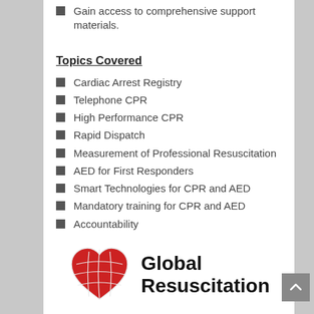Gain access to comprehensive support materials.
Topics Covered
Cardiac Arrest Registry
Telephone CPR
High Performance CPR
Rapid Dispatch
Measurement of Professional Resuscitation
AED for First Responders
Smart Technologies for CPR and AED
Mandatory training for CPR and AED
Accountability
Culture of Excellence
Implementation of Best Practices and Change Management
[Figure (logo): Global Resuscitation logo with a red heart containing a globe grid pattern, and bold text 'Global Resuscitation' to the right]